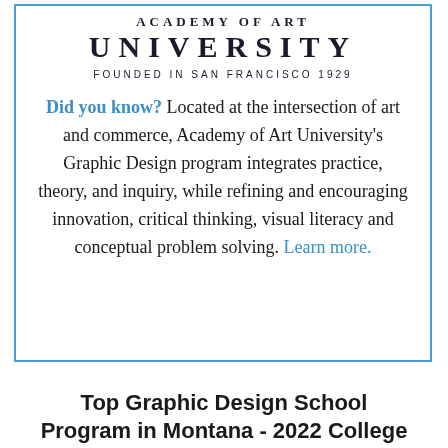[Figure (logo): Academy of Art University logo with text 'ACADEMY OF ART UNIVERSITY' and 'FOUNDED IN SAN FRANCISCO 1929']
Did you know? Located at the intersection of art and commerce, Academy of Art University's Graphic Design program integrates practice, theory, and inquiry, while refining and encouraging innovation, critical thinking, visual literacy and conceptual problem solving. Learn more.
Top Graphic Design School Program in Montana - 2022 College